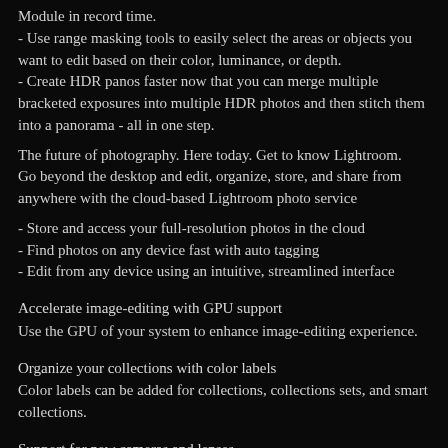Module in record time.
- Use range masking tools to easily select the areas or objects you want to edit based on their color, luminance, or depth.
- Create HDR panos faster now that you can merge multiple bracketed exposures into multiple HDR photos and then stitch them into a panorama - all in one step.
The future of photography. Here today. Get to know Lightroom.
Go beyond the desktop and edit, organize, store, and share from anywhere with the cloud-based Lightroom photo service
- Store and access your full-resolution photos in the cloud
- Find photos on any device fast with auto tagging
- Edit from any device using an intuitive, streamlined interface
Accelerate image-editing with GPU support
Use the GPU of your system to enhance image-editing experience.
Organize your collections with color labels
Color labels can be added for collections, collections sets, and smart collections.
Support for new cameras and lenses
Adds support for new cameras and lens profiles.
Other enhancements
Find information about PNG export, batch merge for HDR and panoramas, and other new enhancements in this release.